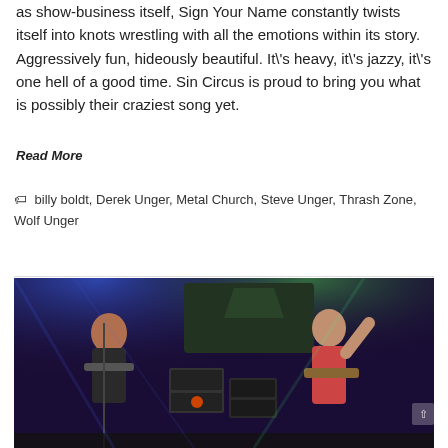as show-business itself, Sign Your Name constantly twists itself into knots wrestling with all the emotions within its story. Aggressively fun, hideously beautiful. It's heavy, it's jazzy, it's one hell of a good time. Sin Circus is proud to bring you what is possibly their craziest song yet.
Read More
billy boldt, Derek Unger, Metal Church, Steve Unger, Thrash Zone, Wolf Unger
[Figure (photo): Concert photo showing two musicians performing on stage under blue and green stage lighting, with amplifiers visible in the background.]